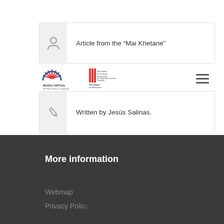Article from the “Mai Khetane”
[Figure (logo): Museu Virtual del Poble Gitano a Catalunya logo with sun/fan design]
[Figure (logo): Generalitat de Catalunya institutional logo - Pla Integral del Poble Gitano]
Written by Jesús Salinas.
More information
Webmap
Privacy Policy